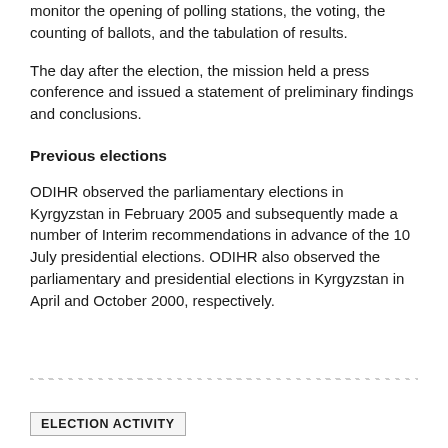monitor the opening of polling stations, the voting, the counting of ballots, and the tabulation of results.
The day after the election, the mission held a press conference and issued a statement of preliminary findings and conclusions.
Previous elections
ODIHR observed the parliamentary elections in Kyrgyzstan in February 2005 and subsequently made a number of Interim recommendations in advance of the 10 July presidential elections. ODIHR also observed the parliamentary and presidential elections in Kyrgyzstan in April and October 2000, respectively.
ELECTION ACTIVITY